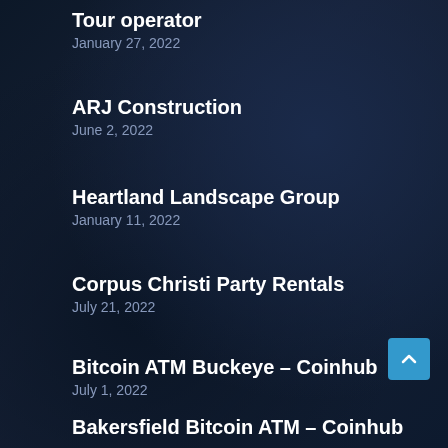Tour operator
January 27, 2022
ARJ Construction
June 2, 2022
Heartland Landscape Group
January 11, 2022
Corpus Christi Party Rentals
July 21, 2022
Bitcoin ATM Buckeye – Coinhub
July 1, 2022
Bakersfield Bitcoin ATM – Coinhub